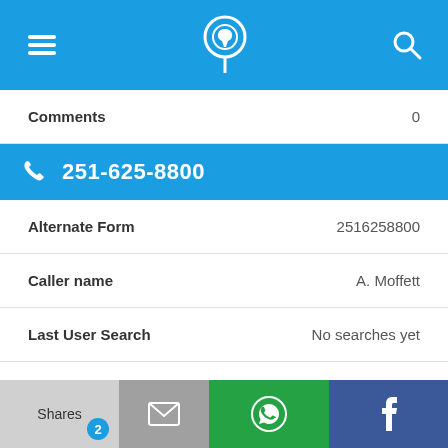[Figure (screenshot): Mobile app top navigation bar with hamburger menu, phone-with-pin logo, and search icon on blue background]
| Field | Value |
| --- | --- |
| Comments | 0 |
| 251-625-8800 |  |
| Alternate Form | 2516258800 |
| Caller name | A. Moffett |
| Last User Search | No searches yet |
| Comments | 0 |
[Figure (screenshot): Bottom share bar with Shares, email, WhatsApp, and Facebook buttons]